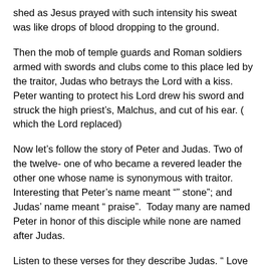shed as Jesus prayed with such intensity his sweat was like drops of blood dropping to the ground.
Then the mob of temple guards and Roman soldiers armed with swords and clubs come to this place led by the traitor, Judas who betrays the Lord with a kiss. Peter wanting to protect his Lord drew his sword and struck the high priest’s, Malchus, and cut of his ear. ( which the Lord replaced)
Now let’s follow the story of Peter and Judas. Two of the twelve- one of who became a revered leader the other one whose name is synonymous with traitor.  Interesting that Peter’s name meant “” stone”; and Judas’ name meant “ praise”.  Today many are named Peter in honor of this disciple while none are named after Judas.
Listen to these verses for they describe Judas. “ Love not the world, neither the things that are in the world. If any man love the world, the love of the Father is not in him ” ( 1 John 2: 15)